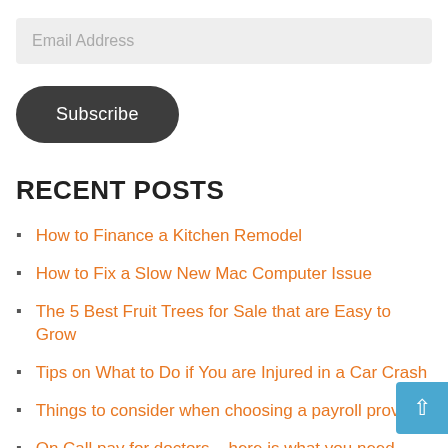Email Address
Subscribe
RECENT POSTS
How to Finance a Kitchen Remodel
How to Fix a Slow New Mac Computer Issue
The 5 Best Fruit Trees for Sale that are Easy to Grow
Tips on What to Do if You are Injured in a Car Crash
Things to consider when choosing a payroll provider
On Call pay for doctors – here is what you need